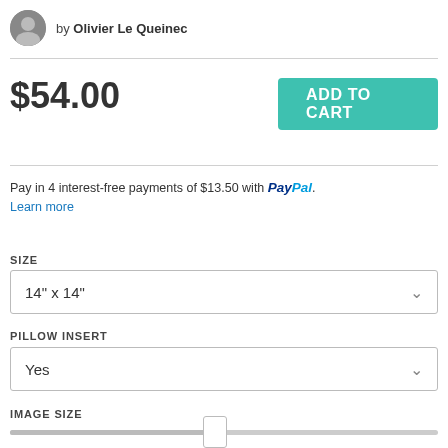by Olivier Le Queinec
$54.00
ADD TO CART
Pay in 4 interest-free payments of $13.50 with PayPal. Learn more
SIZE
14" x 14"
PILLOW INSERT
Yes
IMAGE SIZE